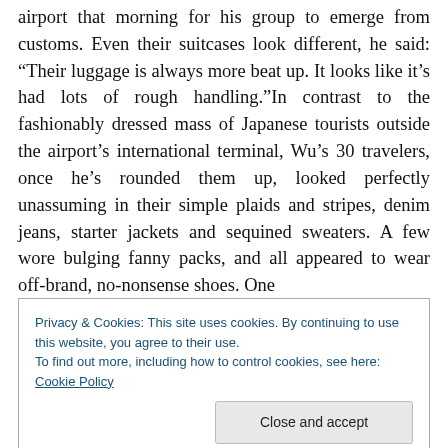airport that morning for his group to emerge from customs. Even their suitcases look different, he said: “Their luggage is always more beat up. It looks like it’s had lots of rough handling.”In contrast to the fashionably dressed mass of Japanese tourists outside the airport’s international terminal, Wu’s 30 travelers, once he’s rounded them up, looked perfectly unassuming in their simple plaids and stripes, denim jeans, starter jackets and sequined sweaters. A few wore bulging fanny packs, and all appeared to wear off-brand, no-nonsense shoes. One
Privacy & Cookies: This site uses cookies. By continuing to use this website, you agree to their use.
To find out more, including how to control cookies, see here: Cookie Policy
retirees and a cagey man who claimed to be a bus driver.